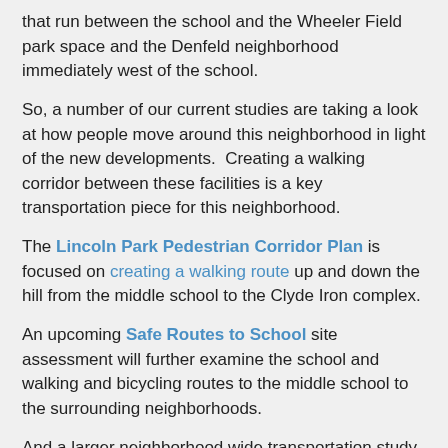that run between the school and the Wheeler Field park space and the Denfeld neighborhood immediately west of the school.
So, a number of our current studies are taking a look at how people move around this neighborhood in light of the new developments.  Creating a walking corridor between these facilities is a key transportation piece for this neighborhood.
The Lincoln Park Pedestrian Corridor Plan is focused on creating a walking route up and down the hill from the middle school to the Clyde Iron complex.
An upcoming Safe Routes to School site assessment will further examine the school and walking and bicycling routes to the middle school to the surrounding neighborhoods.
And a larger neighborhood wide transportation study, the Lincoln Park Multimodal Transportation Assessment